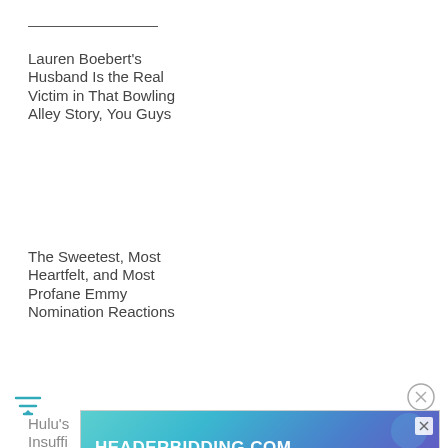Lauren Boebert's Husband Is the Real Victim in That Bowling Alley Story, You Guys
The Sweetest, Most Heartfelt, and Most Profane Emmy Nomination Reactions
Hulu's Insuffi... 'Magg... Undone By
[Figure (screenshot): HEADERBIDDING.COM advertisement banner with teal-to-purple gradient background and tagline 'Your source for all things programmatic advertising.']